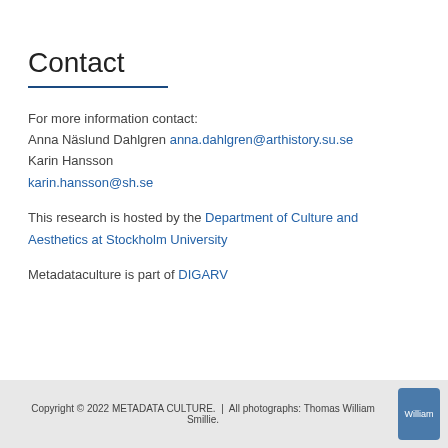Contact
For more information contact:
Anna Näslund Dahlgren anna.dahlgren@arthistory.su.se
Karin Hansson
karin.hansson@sh.se
This research is hosted by the Department of Culture and Aesthetics at Stockholm University
Metadataculture is part of DIGARV
Copyright © 2022 METADATA CULTURE.  |  All photographs: Thomas William Smillie.